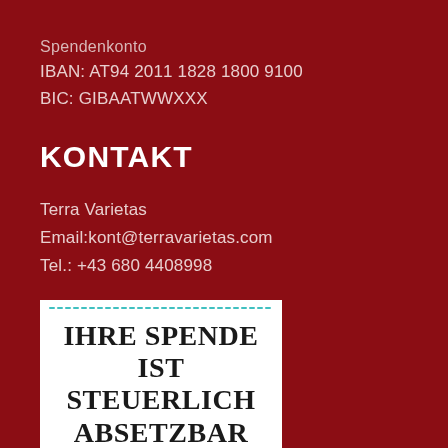Spendenkonto
IBAN: AT94 2011 1828 1800 9100
BIC: GIBAATWWXXX
KONTAKT
Terra Varietas
Email:kont@terravarietas.com
Tel.: +43 680 4408998
[Figure (other): White box with dotted teal border containing text: IHRE SPENDE IST STEUERLICH ABSETZBAR and REG.NR. SO 14942]